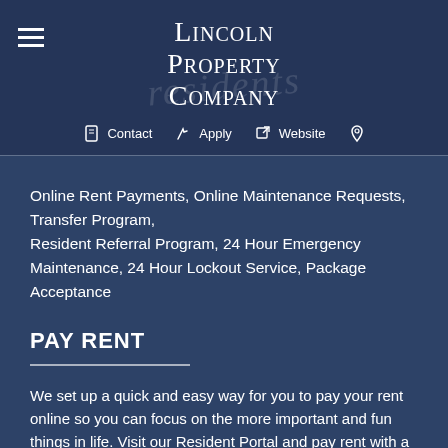Lincoln Property Company
Contact  Apply  Website
residents
Online Rent Payments, Online Maintenance Requests, Transfer Program, Resident Referral Program, 24 Hour Emergency Maintenance, 24 Hour Lockout Service, Package Acceptance
PAY RENT
We set up a quick and easy way for you to pay your rent online so you can focus on the more important and fun things in life. Visit our Resident Portal and pay rent with a simple click of the button.